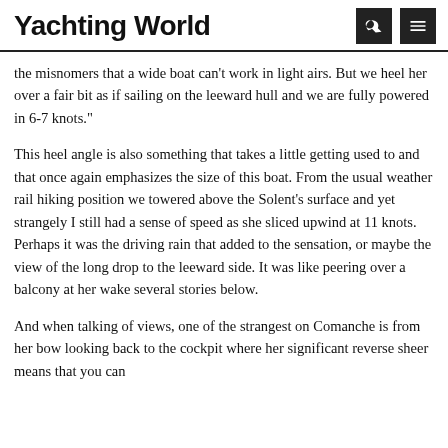Yachting World
the misnomers that a wide boat can't work in light airs. But we heel her over a fair bit as if sailing on the leeward hull and we are fully powered in 6-7 knots."
This heel angle is also something that takes a little getting used to and that once again emphasizes the size of this boat. From the usual weather rail hiking position we towered above the Solent's surface and yet strangely I still had a sense of speed as she sliced upwind at 11 knots. Perhaps it was the driving rain that added to the sensation, or maybe the view of the long drop to the leeward side. It was like peering over a balcony at her wake several stories below.
And when talking of views, one of the strangest on Comanche is from her bow looking back to the cockpit where her significant reverse sheer means that you can